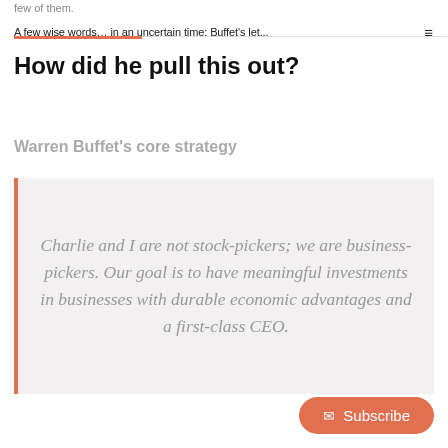few of them.
A few wise words… in an uncertain time: Buffet's let... ≡
How did he pull this out?
Warren Buffet's core strategy
Charlie and I are not stock-pickers; we are business-pickers. Our goal is to have meaningful investments in businesses with durable economic advantages and a first-class CEO.
Subscribe